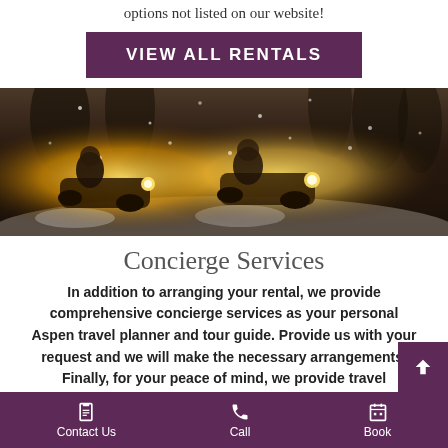options not listed on our website!
VIEW ALL RENTALS
[Figure (photo): Snowmobilers riding through snowy forest with headlights glowing, snow flying around them]
Concierge Services
In addition to arranging your rental, we provide comprehensive concierge services as your personal Aspen travel planner and tour guide. Provide us with your request and we will make the necessary arrangements. Finally, for your peace of mind, we provide travel
Contact Us   Call   Book